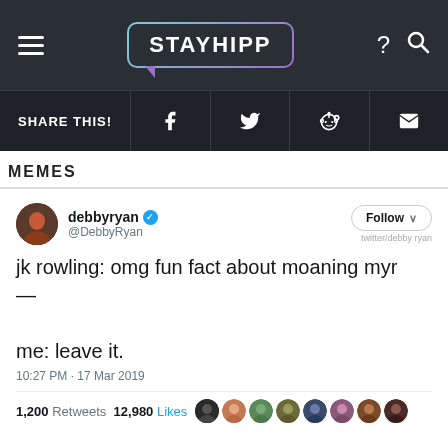[Figure (screenshot): StayHipp website navigation bar with hamburger menu, STAYHIPP logo in speech bubble, question mark and search icons on dark background]
[Figure (screenshot): Share bar with SHARE THIS! label and social media icons for Facebook, Twitter, Reddit, and email]
MEMES
[Figure (screenshot): Tweet screenshot from @DebbyRyan (debbyryan, verified) with Follow button. Tweet text: jk rowling: omg fun fact about moaning myr — me: leave it. Posted 10:27 PM - 17 Mar 2019. 1,200 Retweets 12,980 Likes with avatar row.]